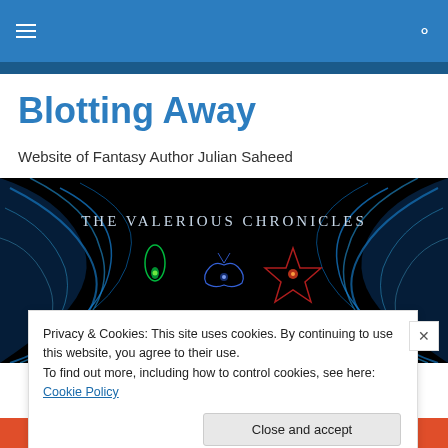Navigation bar with hamburger menu and search icon
Blotting Away
Website of Fantasy Author Julian Saheed
[Figure (illustration): Dark fantasy banner image titled 'THE VALERIOUS CHRONICLES' showing blue smoke/energy wings on sides, with three glowing symbols: a green teardrop eye, a blue butterfly/moth symbol, and a red star — all on a black background.]
Privacy & Cookies: This site uses cookies. By continuing to use this website, you agree to their use.
To find out more, including how to control cookies, see here: Cookie Policy
Close and accept
DuckDuckGo